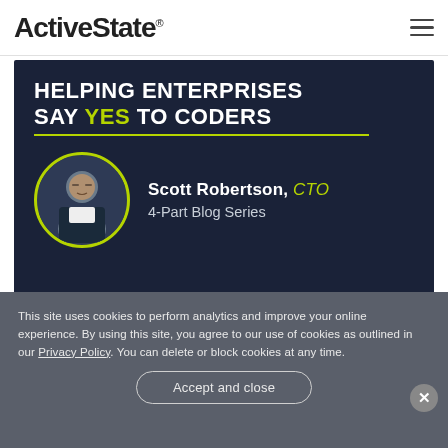ActiveState® [hamburger menu icon]
[Figure (illustration): Dark navy banner image with bold white text 'HELPING ENTERPRISES SAY YES TO CODERS' where YES is in lime green. Below a lime-green horizontal rule is a circular portrait photo of Scott Robertson with a lime-green border, and text 'Scott Robertson, CTO / 4-Part Blog Series' in white.]
This site uses cookies to perform analytics and improve your online experience. By using this site, you agree to our use of cookies as outlined in our Privacy Policy. You can delete or block cookies at any time.
Accept and close